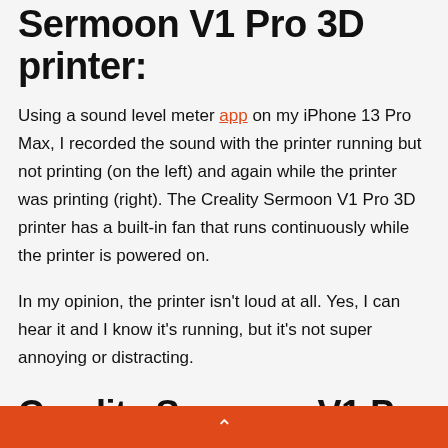Sermoon V1 Pro 3D printer:
Using a sound level meter app on my iPhone 13 Pro Max, I recorded the sound with the printer running but not printing (on the left) and again while the printer was printing (right). The Creality Sermoon V1 Pro 3D printer has a built-in fan that runs continuously while the printer is powered on.
In my opinion, the printer isn't loud at all. Yes, I can hear it and I know it's running, but it's not super annoying or distracting.
Creality Sermoon V1 Pro 3D printer print results